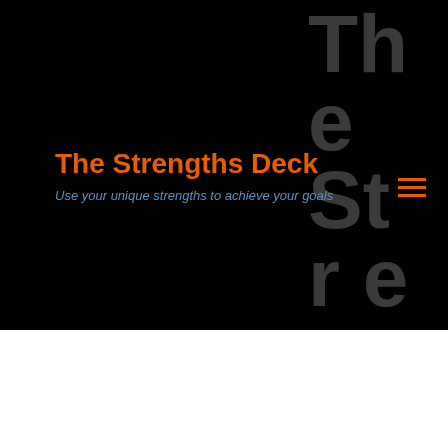The Strengths Deck
Use your unique strengths to achieve your goals
The Strengths Deck
the Storyteller is able to weave this great narrative that takes you on a journey and gets you engaged with the characters and the situation and the challenge and the